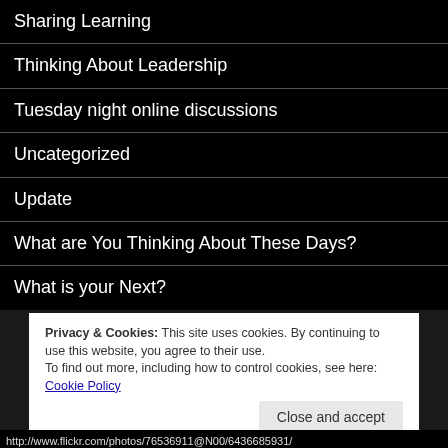Sharing Learning
Thinking About Leadership
Tuesday night online discussions
Uncategorized
Update
What are You Thinking About These Days?
What is your Next?
Privacy & Cookies: This site uses cookies. By continuing to use this website, you agree to their use.
To find out more, including how to control cookies, see here: Cookie Policy
Close and accept
http://www.flickr.com/photos/76536911@N00/6436685931/